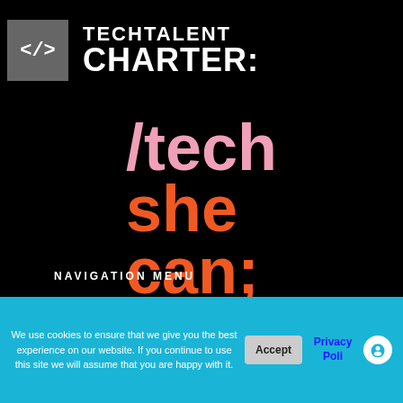[Figure (logo): Tech Talent Charter logo: grey box with </> code symbol followed by 'TECH TALENT CHARTER:' text in white on black background]
[Figure (logo): /tech she can; logo in pink slash and orange bold text on black background]
NAVIGATION MENU
> NEWS & ARTICLES
We use cookies to ensure that we give you the best experience on our website. If you continue to use this site we will assume that you are happy with it.